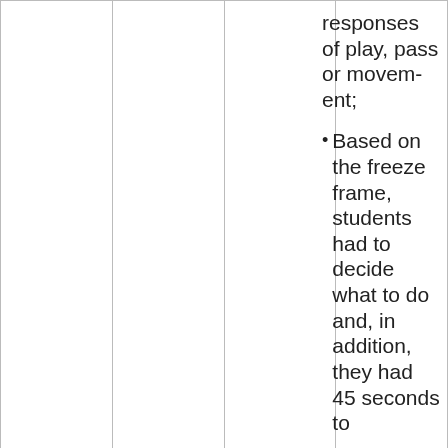responses of play, pass or movement;
Based on the freeze frame, students had to decide what to do and, in addition, they had 45 seconds to